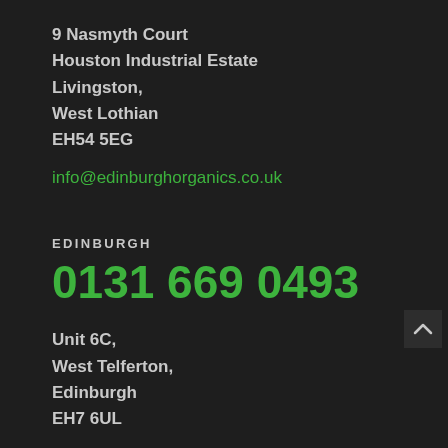9 Nasmyth Court
Houston Industrial Estate
Livingston,
West Lothian
EH54 5EG
info@edinburghorganics.co.uk
EDINBURGH
0131 669 0493
Unit 6C,
West Telferton,
Edinburgh
EH7 6UL
info@progrowscotland.co.uk